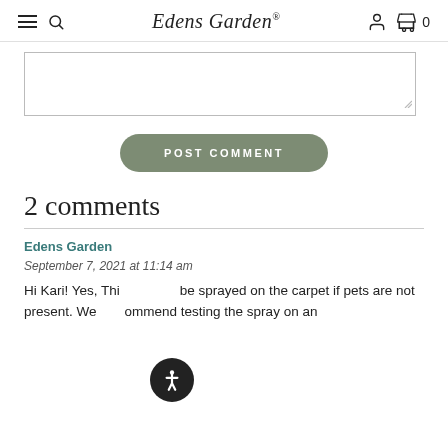Edens Garden
[Figure (screenshot): Text input textarea box with resize handle]
[Figure (other): POST COMMENT button, rounded pill shape, sage green background]
2 comments
Edens Garden
September 7, 2021 at 11:14 am
Hi Kari! Yes, This be sprayed on the carpet if pets are not present. We ommend testing the spray on an
[Figure (other): Accessibility icon button - person in circle, dark background]